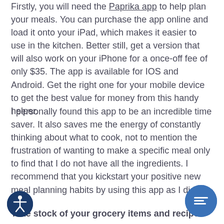Firstly, you will need the Paprika app to help plan your meals. You can purchase the app online and load it onto your iPad, which makes it easier to use in the kitchen. Better still, get a version that will also work on your iPhone for a once-off fee of only $35. The app is available for IOS and Android. Get the right one for your mobile device to get the best value for money from this handy helper.
I personally found this app to be an incredible time saver. It also saves me the energy of constantly thinking about what to cook, not to mention the frustration of wanting to make a specific meal only to find that I do not have all the ingredients. I recommend that you kickstart your positive new meal planning habits by using this app as I did.
Take stock of your grocery items and recipes